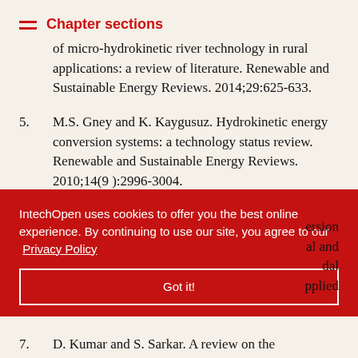Chapter sections
of micro-hydrokinetic river technology in rural applications: a review of literature. Renewable and Sustainable Energy Reviews. 2014;29:625-633.
5. M.S. Gney and K. Kaygusuz. Hydrokinetic energy conversion systems: a technology status review. Renewable and Sustainable Energy Reviews. 2010;14(9):2996-3004.
6. M.J. Khan, G. Bhuyan, M.T. Iqbal, and J.E. [partially obscured] ersion [obscured] al and dal pplied
IntechOpen uses cookies to offer you the best online experience. By continuing to use our site, you agree to our Privacy Policy
Got it!
7. D. Kumar and S. Sarkar. A review on the